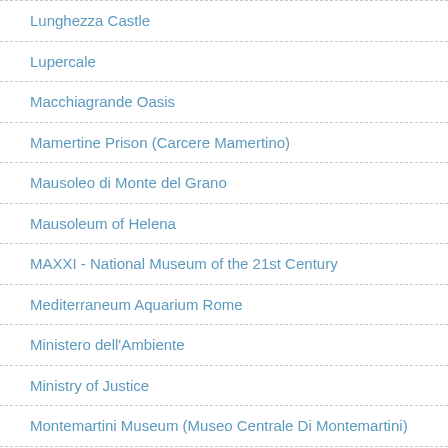Lunghezza Castle
Lupercale
Macchiagrande Oasis
Mamertine Prison (Carcere Mamertino)
Mausoleo di Monte del Grano
Mausoleum of Helena
MAXXI - National Museum of the 21st Century
Mediterraneum Aquarium Rome
Ministero dell'Ambiente
Ministry of Justice
Montemartini Museum (Museo Centrale Di Montemartini)
Monumental Cemetery of the Capuchin Brothers (Cimitero Monumentale dei Frati Cappuccini)